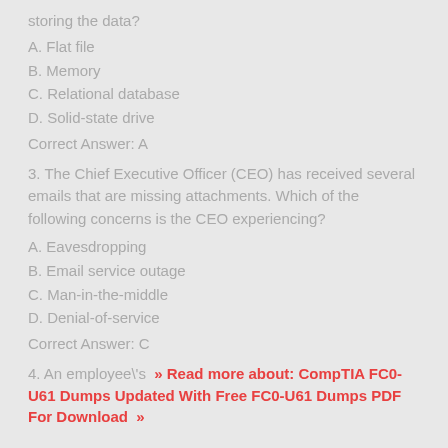storing the data?
A. Flat file
B. Memory
C. Relational database
D. Solid-state drive
Correct Answer: A
3. The Chief Executive Officer (CEO) has received several emails that are missing attachments. Which of the following concerns is the CEO experiencing?
A. Eavesdropping
B. Email service outage
C. Man-in-the-middle
D. Denial-of-service
Correct Answer: C
4. An employee\'s  » Read more about: CompTIA FC0-U61 Dumps Updated With Free FC0-U61 Dumps PDF For Download »